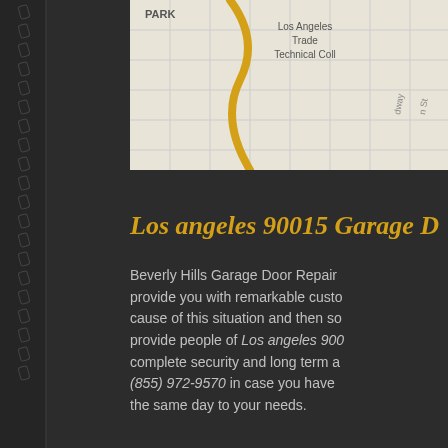[Figure (map): Google Maps screenshot showing Los Angeles area with PARK label, Los Angeles Trade Technical Coll label, and a highlighted yellow road/route]
Los angeles 90015 Garage D...
Beverly Hills Garage Door Repair provide you with remarkable custo... cause of this situation and then so... provide people of Los angeles 900... complete security and long term a... (855) 972-9570 in case you have ... the same day to your needs.